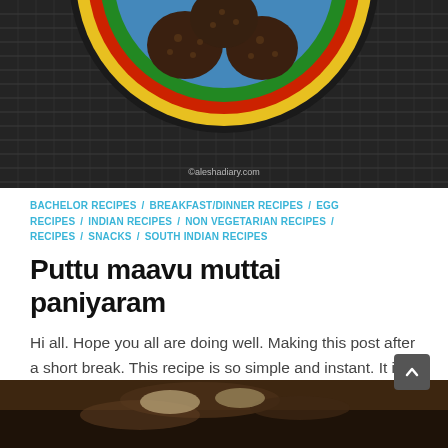[Figure (photo): Top-down photo of paniyaram (Indian snack) on a colorful striped plate placed on a dark woven mat background. Watermark: ©aleshadiary.com]
BACHELOR RECIPES / BREAKFAST/DINNER RECIPES / EGG RECIPES / INDIAN RECIPES / NON VEGETARIAN RECIPES / RECIPES / SNACKS / SOUTH INDIAN RECIPES
Puttu maavu muttai paniyaram
Hi all. Hope you all are doing well. Making this post after a short break. This recipe is so simple and instant. It is a good option as breakfast or…
COMMENTS OFF
FEBRUARY 6, 2021
[Figure (photo): Partial image of another food photo at the bottom of the page, dark brown tones suggesting an Indian dish.]